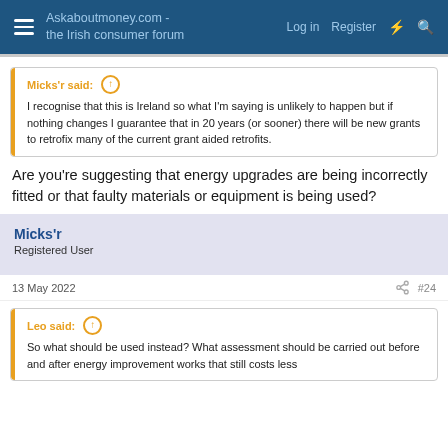Askaboutmoney.com - the Irish consumer forum | Log in | Register
Micks'r said: ↑
I recognise that this is Ireland so what I'm saying is unlikely to happen but if nothing changes I guarantee that in 20 years (or sooner) there will be new grants to retrofix many of the current grant aided retrofits.
Are you're suggesting that energy upgrades are being incorrectly fitted or that faulty materials or equipment is being used?
Micks'r
Registered User
13 May 2022  #24
Leo said: ↑
So what should be used instead? What assessment should be carried out before and after energy improvement works that still costs less